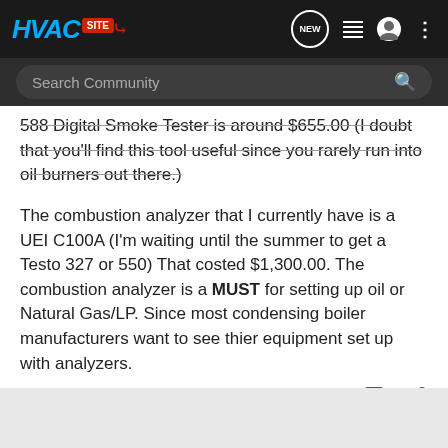HVAC SITE — navigation bar with search
588 Digital Smoke Tester is around $655.00 (I doubt that you'll find this tool useful since you rarely run into oil burners out there.)
The combustion analyzer that I currently have is a UEI C100A (I'm waiting until the summer to get a Testo 327 or 550) That costed $1,300.00. The combustion analyzer is a MUST for setting up oil or Natural Gas/LP. Since most condensing boiler manufacturers want to see thier equipment set up with analyzers.